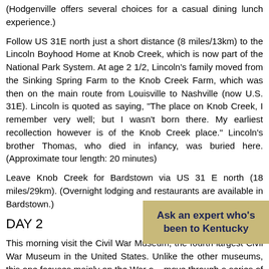(Hodgenville offers several choices for a casual dining lunch experience.)
Follow US 31E north just a short distance (8 miles/13km) to the Lincoln Boyhood Home at Knob Creek, which is now part of the National Park System. At age 2 1/2, Lincoln's family moved from the Sinking Spring Farm to the Knob Creek Farm, which was then on the main route from Louisville to Nashville (now U.S. 31E). Lincoln is quoted as saying, "The place on Knob Creek, I remember very well; but I wasn't born there. My earliest recollection however is of the Knob Creek place." Lincoln's brother Thomas, who died in infancy, was buried here. (Approximate tour length: 20 minutes)
Leave Knob Creek for Bardstown via US 31 E north (18 miles/29km). (Overnight lodging and restaurants are available in Bardstown.)
DAY 2
This morning visit the Civil War Museum, the fourth-largest Civil War Museum in the United States. Unlike the other museums, this one focuses mainly on the War o... move through a series of exhibits t... both the Union and the Confederac... the Women's Civil War Museum, which depicts the role women
[Figure (infographic): Tan/beige callout box with bold dark blue text reading 'Ask an expert who's been to Kentucky']